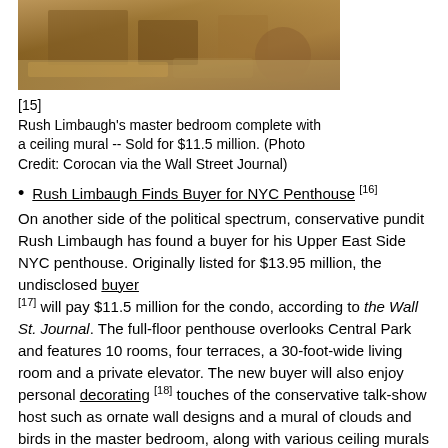[Figure (photo): Interior photo of Rush Limbaugh's master bedroom with ornate decor visible at top of page]
[15]
Rush Limbaugh's master bedroom complete with a ceiling mural -- Sold for $11.5 million. (Photo Credit: Corocan via the Wall Street Journal)
Rush Limbaugh Finds Buyer for NYC Penthouse [16]
On another side of the political spectrum, conservative pundit Rush Limbaugh has found a buyer for his Upper East Side NYC penthouse. Originally listed for $13.95 million, the undisclosed buyer [17] will pay $11.5 million for the condo, according to the Wall St. Journal. The full-floor penthouse overlooks Central Park and features 10 rooms, four terraces, a 30-foot-wide living room and a private elevator. The new buyer will also enjoy personal decorating [18] touches of the conservative talk-show host such as ornate wall designs and a mural of clouds and birds in the master bedroom, along with various ceiling murals throughout the penthouse featuring